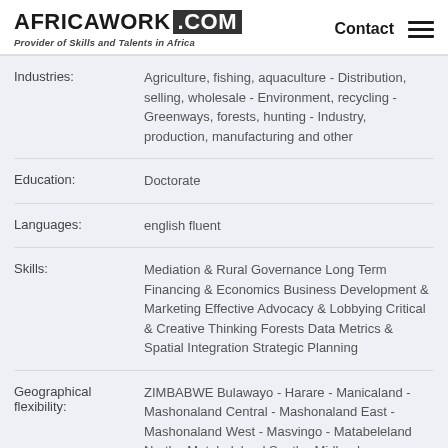AFRICAWORK .COM - Provider of Skills and Talents in Africa
Industries: Agriculture, fishing, aquaculture - Distribution, selling, wholesale - Environment, recycling - Greenways, forests, hunting - Industry, production, manufacturing and other
Education: Doctorate
Languages: english fluent
Skills: Mediation & Rural Governance Long Term Financing & Economics Business Development & Marketing Effective Advocacy & Lobbying Critical & Creative Thinking Forests Data Metrics & Spatial Integration Strategic Planning
Geographical flexibility: ZIMBABWE Bulawayo - Harare - Manicaland - Mashonaland Central - Mashonaland East - Mashonaland West - Masvingo - Matabeleland North - Matabeleland South - Midlands